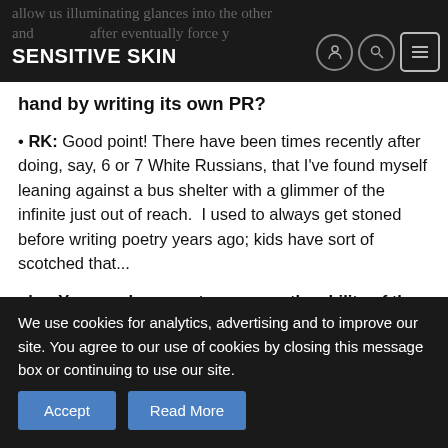Sensitive Skin
allow us illuminating glances into the other and forces AI to after eventually force your hand by writing its own PR?
• RK: Good point! There have been times recently after doing, say, 6 or 7 White Russians, that I've found myself leaning against a bus shelter with a glimmer of the infinite just out of reach.  I used to always get stoned before writing poetry years ago; kids have sort of scotched that...
• bp: Your work seems to espouse the ability of the seemingly pathetically trifling & pedestrian to gain currency & dignity as private adventures & in their very gritty ability to open us up to a
We use cookies for analytics, advertising and to improve our site. You agree to our use of cookies by closing this message box or continuing to use our site.